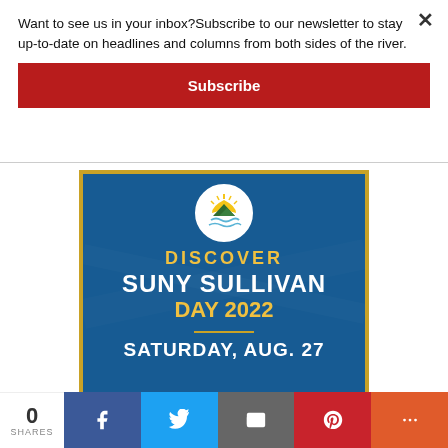Want to see us in your inbox?Subscribe to our newsletter to stay up-to-date on headlines and columns from both sides of the river.
Subscribe
[Figure (infographic): DISCOVER SUNY SULLIVAN DAY 2022 — SATURDAY, AUG. 27 advertisement banner with blue background, SUNY Sullivan logo circle, gold and white text]
0 SHARES